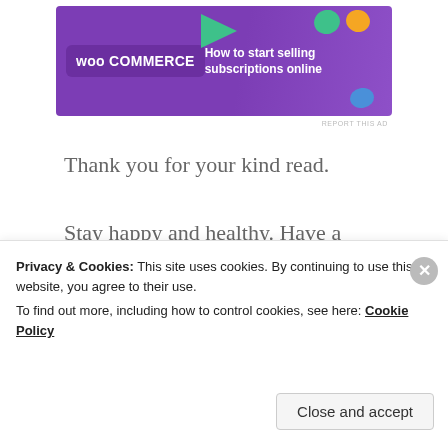[Figure (other): WooCommerce advertisement banner: purple background with WooCommerce logo, text 'How to start selling subscriptions online', decorative leaf shapes in green, orange, and blue]
Thank you for your kind read.
Stay happy and healthy. Have a wonderful day! Smiles!
Advertisements
[Figure (other): Advertisement box with light blue-grey background showing large serif text 'Build a writing' (cut off at bottom)]
Privacy & Cookies: This site uses cookies. By continuing to use this website, you agree to their use.
To find out more, including how to control cookies, see here: Cookie Policy
Close and accept